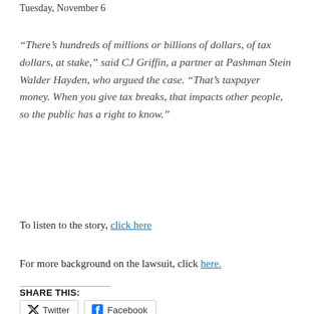Tuesday, November 6
“There’s hundreds of millions or billions of dollars, of tax dollars, at stake,” said CJ Griffin, a partner at Pashman Stein Walder Hayden, who argued the case. “That’s taxpayer money. When you give tax breaks, that impacts other people, so the public has a right to know.”
To listen to the story, click here
For more background on the lawsuit, click here.
SHARE THIS:
Twitter  Facebook
LIKE THIS: